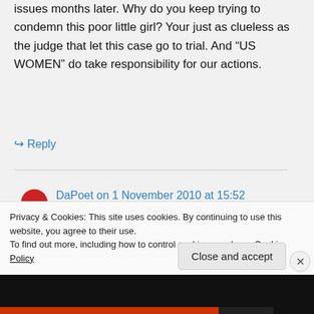issues months later. Why do you keep trying to condemn this poor little girl? Your just as clueless as the judge that let this case go to trial. And “US WOMEN” do take responsibility for our actions.
↪ Reply
DaPoet on 1 November 2010 at 15:52
The simple fact is that she was
Privacy & Cookies: This site uses cookies. By continuing to use this website, you agree to their use.
To find out more, including how to control cookies, see here: Cookie Policy
Close and accept